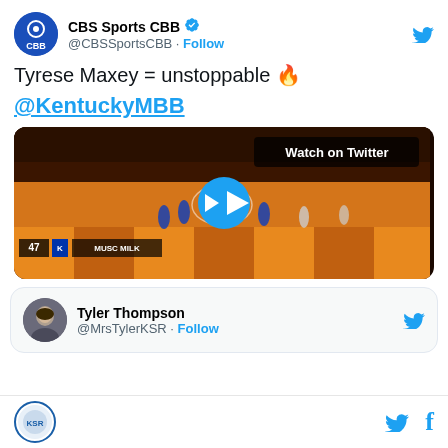CBS Sports CBB @CBBSportsCBB · Follow
Tyrese Maxey = unstoppable 🔥
@KentuckyMBB
[Figure (screenshot): Basketball game video thumbnail showing a Kentucky vs Tennessee game with a play button overlay and 'Watch on Twitter' label]
Tyler Thompson @MrsTylerKSR · Follow
Kentucky sports website logo with Twitter and Facebook icons